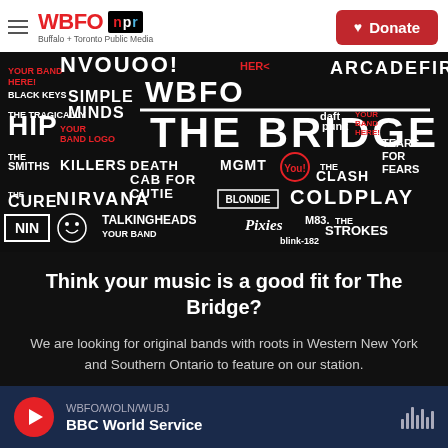WBFO NPR — Buffalo + Toronto Public Media | Donate
[Figure (photo): Black background collage of band names and logos including The Bridge, Black Keys, Simple Minds, The Tragically Hip, The Smiths, The Killers, Death Cab for Cutie, MGMT, The Clash, Tears for Fears, The Cure, Nirvana, Blondie, Coldplay, NIN, Talking Heads, Pixies, M83, The Strokes, Blink-182, Arcade Fire, Daft Punk, and more with WBFO The Bridge branding]
Think your music is a good fit for The Bridge?
We are looking for original bands with roots in Western New York and Southern Ontario to feature on our station.
WBFO/WOLN/WUBJ — BBC World Service